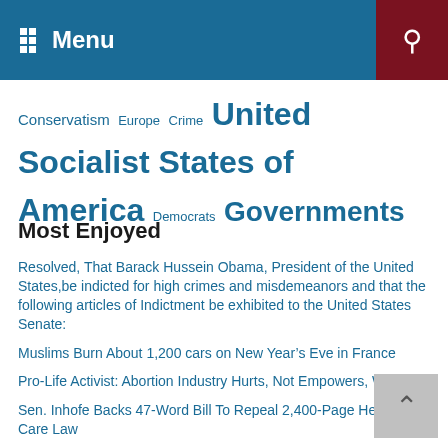Menu [search icon]
Conservatism Europe Crime United Socialist States of America Democrats Governments
Most Enjoyed
Resolved, That Barack Hussein Obama, President of the United States,be indicted for high crimes and misdemeanors and that the following articles of Indictment be exhibited to the United States Senate:
Muslims Burn About 1,200 cars on New Year's Eve in France
Pro-Life Activist: Abortion Industry Hurts, Not Empowers, Women
Sen. Inhofe Backs 47-Word Bill To Repeal 2,400-Page Health Care Law
Is There a Muslim Terrorist Training Camp Near YOU?
The Netherlands to Abandon Multiculturalism
Spain takes first step to ban the Qur'an
Obama Excludes Muslims from Forced Health-care Bill